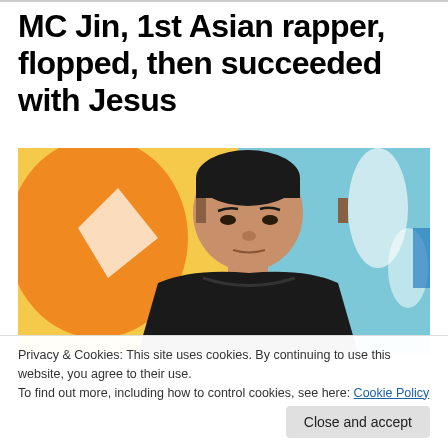MC Jin, 1st Asian rapper, flopped, then succeeded with Jesus
[Figure (photo): Photo of MC Jin, an Asian man in a black hoodie, shown against a colorful graffiti mural background with orange, yellow, and light blue colors. He has short black hair with a fade and is looking at the camera with a serious expression.]
Privacy & Cookies: This site uses cookies. By continuing to use this website, you agree to their use.
To find out more, including how to control cookies, see here: Cookie Policy
Close and accept